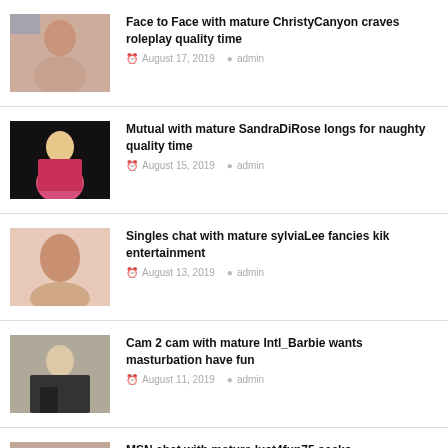Face to Face with mature ChristyCanyon craves roleplay quality time
August 17, 2019  admin
Mutual with mature SandraDiRose longs for naughty quality time
August 15, 2019  admin
Singles chat with mature sylviaLee fancies kik entertainment
August 13, 2019  admin
Cam 2 cam with mature Intl_Barbie wants masturbation have fun
August 11, 2019  admin
MSN chat with mature lust4fun75 seeks